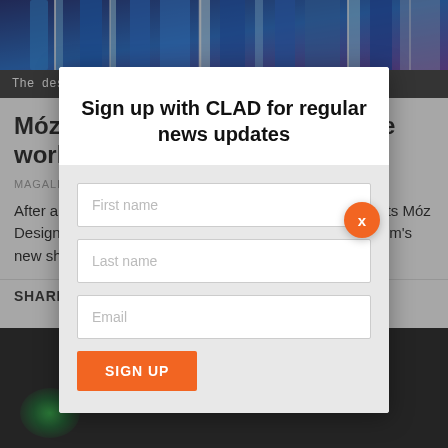[Figure (photo): Abstract blue and purple reflective columns or architectural elements, aquarium-inspired design]
The design of the columns was inspired by the sea
Móz Designs columns anchor the world's largest indoor aquarium
MAGALI ROBATHAN
After a two-year renovation, Oakland-based metal experts Móz Designs have unveiled their inclusion in Georgia Aquarium's new shark gallery. Located ...
SHARE T
[Figure (photo): Dark aquarium background with green glowing light, fish silhouette]
Sign up with CLAD for regular news updates
First name
Last name
Email
SIGN UP